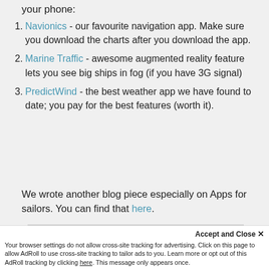your phone:
Navionics - our favourite navigation app. Make sure you download the charts after you download the app.
Marine Traffic - awesome augmented reality feature lets you see big ships in fog (if you have 3G signal)
PredictWind - the best weather app we have found to date; you pay for the best features (worth it).
We wrote another blog piece especially on Apps for sailors. You can find that here.
[Figure (screenshot): Mobile app screenshot showing navigation data: distance 17.6 NM, speed 0.0 kts, and a map view with yellow background]
Accept and Close ×
Your browser settings do not allow cross-site tracking for advertising. Click on this page to allow AdRoll to use cross-site tracking to tailor ads to you. Learn more or opt out of this AdRoll tracking by clicking here. This message only appears once.